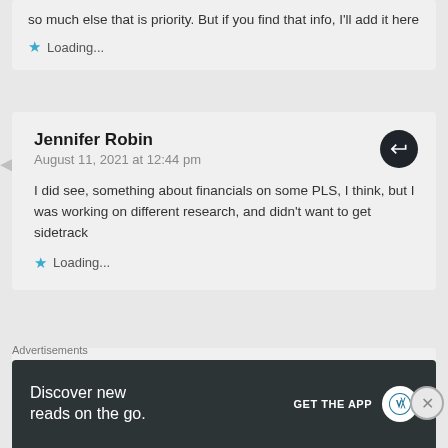so much else that is priority. But if you find that info, I'll add it here
Loading...
Jennifer Robin
August 11, 2021 at 12:44 pm
I did see, something about financials on some PLS, I think, but I was working on different research, and didn't want to get sidetrack
Loading...
Jacqueline Marie
Advertisements
Discover new reads on the go.
GET THE APP